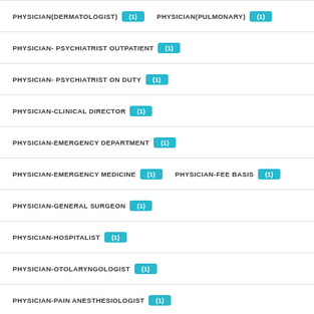PHYSICIAN(DERMATOLOGIST) (1)   PHYSICIAN(PULMONARY) (1)
PHYSICIAN- PSYCHIATRIST OUTPATIENT (1)
PHYSICIAN- PSYCHIATRIST ON DUTY (1)
PHYSICIAN-CLINICAL DIRECTOR (1)
PHYSICIAN-EMERGENCY DEPARTMENT (1)
PHYSICIAN-EMERGENCY MEDICINE (1)   PHYSICIAN-FEE BASIS (1)
PHYSICIAN-GENERAL SURGEON (1)
PHYSICIAN-HOSPITALIST (1)
PHYSICIAN-OTOLARYNGOLOGIST (1)
PHYSICIAN-PAIN ANESTHESIOLOGIST (1)
PHYSICIAN-PATIENT ALIGNED CARE TEAM (PACT) (1)
PIPEFITTER (1)   PIPEFITTER - DIRECT HIRE AUTHORITY (1)
PIPEFITTER LEADER (1)
(1)